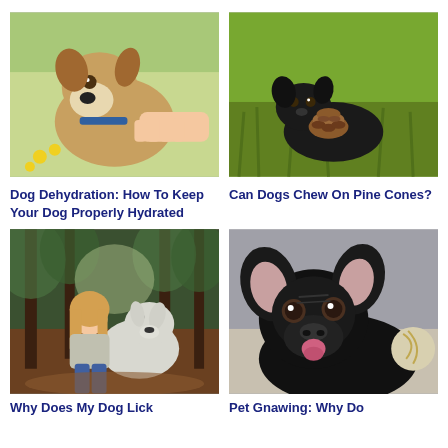[Figure (photo): Close-up of a dog being given water or food from a human hand outdoors with yellow flowers in background]
[Figure (photo): Small black puppy lying on green grass chewing or holding a pine cone]
Dog Dehydration: How To Keep Your Dog Properly Hydrated
Can Dogs Chew On Pine Cones?
[Figure (photo): Young woman kneeling in a forest hugging or playing with a large white dog]
[Figure (photo): Black French Bulldog puppy lying on a blanket with tongue slightly out, large ears visible]
Why Does My Dog Lick
Pet Gnawing: Why Do